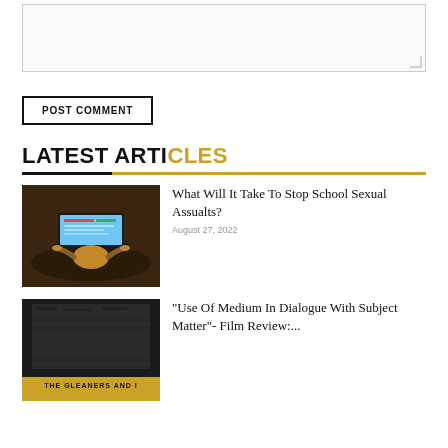[Figure (other): Textarea input box with resize handle in bottom right corner]
POST COMMENT
LATEST ARTICLES
[Figure (photo): Overhead view of person using a laptop computer on a dark surface]
What Will It Take To Stop School Sexual Assualts?
August 27, 2022
[Figure (photo): Book or film cover with yellow banner at bottom reading THE GLEANERS AND I]
“Use Of Medium In Dialogue With Subject Matter”- Film Review:...